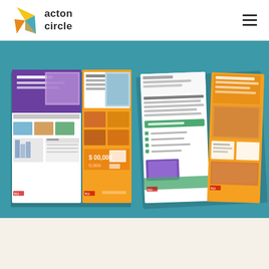acton circle
[Figure (screenshot): Website screenshot showing the Acton Circle website with a white navigation bar containing the Acton Circle logo (geometric yellow and orange arrow/chevron shapes) and hamburger menu icon on the right, followed by a teal/blue-green hero banner section displaying two open brochure/catalog mockups (TCI educational materials) laid on the teal background. The brochures show colorful educational content pages with purple, orange, and green sections, photos of students, and various layout elements. The left brochure shows a flat spread of pages; the right brochure shows pages at a slight angle. Below the hero is a cream/off-white background area.]